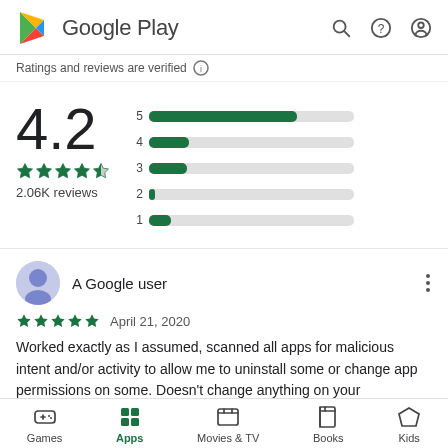Google Play
Ratings and reviews are verified
[Figure (bar-chart): Rating distribution]
4.2
2.06K reviews
A Google user
April 21, 2020
Worked exactly as I assumed, scanned all apps for malicious intent and/or activity to allow me to uninstall some or change app permissions on some. Doesn't change anything on your
Games  Apps  Movies & TV  Books  Kids